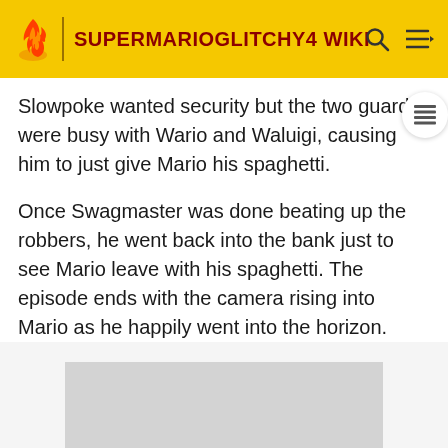SUPERMARIOGLITCHY4 WIKI
Slowpoke wanted security but the two guards were busy with Wario and Waluigi, causing him to just give Mario his spaghetti.
Once Swagmaster was done beating up the robbers, he went back into the bank just to see Mario leave with his spaghetti. The episode ends with the camera rising into Mario as he happily went into the horizon.
[Figure (other): Gray placeholder image block]